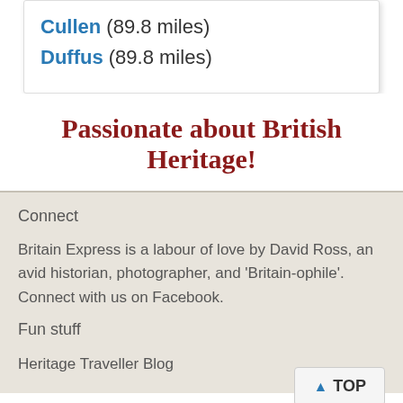Cullen (89.8 miles)
Duffus (89.8 miles)
Passionate about British Heritage!
Connect
Britain Express is a labour of love by David Ross, an avid historian, photographer, and 'Britain-ophile'. Connect with us on Facebook.
Fun stuff
Heritage Traveller Blog
▲ TOP